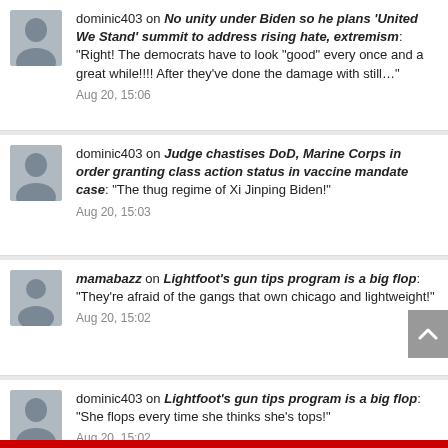dominic403 on No unity under Biden so he plans 'United We Stand' summit to address rising hate, extremism: “Right! The democrats have to look “good” every once and a great while!!!! After they’ve done the damage with still…” Aug 20, 15:06
dominic403 on Judge chastises DoD, Marine Corps in order granting class action status in vaccine mandate case: “The thug regime of Xi Jinping Biden!” Aug 20, 15:03
mamabazz on Lightfoot’s gun tips program is a big flop: “They’re afraid of the gangs that own chicago and lightweight!” Aug 20, 15:02
dominic403 on Lightfoot’s gun tips program is a big flop: “She flops every time she thinks she’s tops!” Aug 20, 15:02